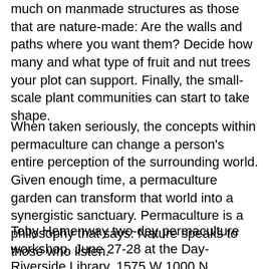much on manmade structures as those that are nature-made: Are the walls and paths where you want them? Decide how many and what type of fruit and nut trees your plot can support. Finally, the small-scale plant communities can start to take shape.
When taken seriously, the concepts within permaculture can change a person's entire perception of the surrounding world. Given enough time, a permaculture garden can transform that world into a synergistic sanctuary. Permaculture is a philosophy that says: Nature speaks to those who listen.
Toby Hemenway two-day permaculture workshop, June 27-28 at the Day-Riverside Library, 1575 W 1000 N. Sponsored by TreeUtah. For more information see p.29 of this issue or www.treeutah.org